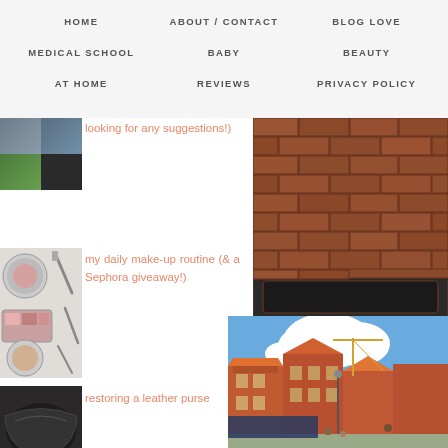HOME   ABOUT / CONTACT   BLOG LOVE
MEDICAL SCHOOL   BABY   BEAUTY
AT HOME   REVIEWS   PRIVACY POLICY
looking for any suggestions!)
[Figure (photo): Thumbnail grid of fashion/accessories images]
[Figure (photo): Brick wall with pipes - red brick building exterior]
my daily make-up routine (& a Sephora giveaway!)
[Figure (photo): Makeup products thumbnails - compacts and brushes]
restoring a leather purse
[Figure (photo): Dark leather purse close-up]
[Figure (photo): European town square with red brick buildings and blue sky]